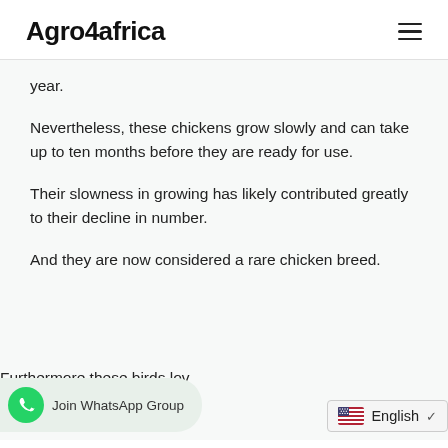Agro4africa
year.
Nevertheless, these chickens grow slowly and can take up to ten months before they are ready for use.
Their slowness in growing has likely contributed greatly to their decline in number.
And they are now considered a rare chicken breed.
Furthermore these birds lov…